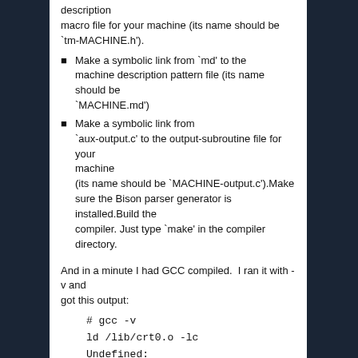description macro file for your machine (its name should be `tm-MACHINE.h').
Make a symbolic link from `md' to the machine description pattern file (its name should be `MACHINE.md')
Make a symbolic link from `aux-output.c' to the output-subroutine file for your machine (its name should be `MACHINE-output.c').Make sure the Bison parser generator is installed.Build the compiler. Just type `make' in the compiler directory.
And in a minute I had GCC compiled.  I ran it with -v and got this output:
# gcc -v
ld /lib/crt0.o -lc
Undefined:
_main
It really is nowhere near as featured as 1.31, that is for